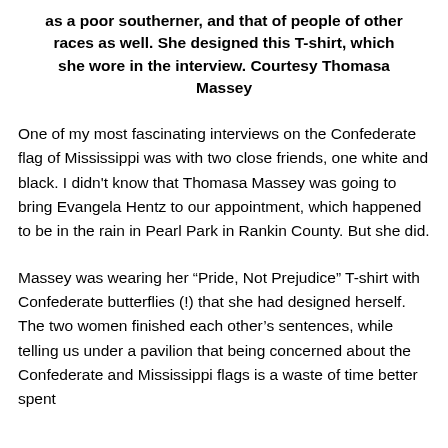as a poor southerner, and that of people of other races as well. She designed this T-shirt, which she wore in the interview. Courtesy Thomasa Massey
One of my most fascinating interviews on the Confederate flag of Mississippi was with two close friends, one white and black. I didn't know that Thomasa Massey was going to bring Evangela Hentz to our appointment, which happened to be in the rain in Pearl Park in Rankin County. But she did.
Massey was wearing her “Pride, Not Prejudice” T-shirt with Confederate butterflies (!) that she had designed herself. The two women finished each other’s sentences, while telling us under a pavilion that being concerned about the Confederate and Mississippi flags is a waste of time better spent